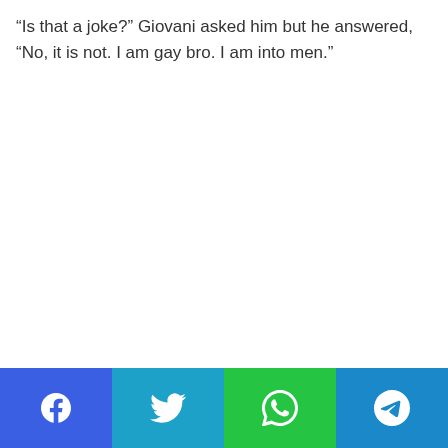“Is that a joke?” Giovani asked him but he answered, “No, it is not. I am gay bro. I am into men.”
[Figure (other): Social media share bar with four buttons: Facebook (blue), Twitter (cyan), WhatsApp (green), Telegram (blue)]